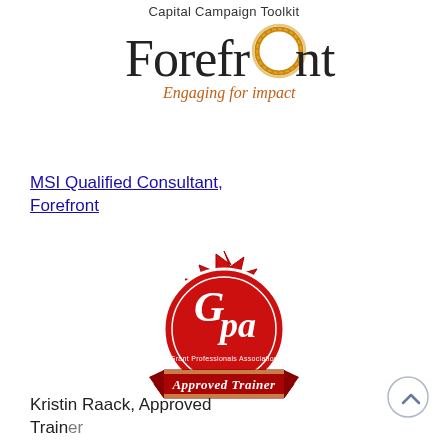Capital Campaign Toolkit
[Figure (logo): Forefront logo with circular gold/orange ring replacing the 'O', tagline 'Engaging for impact' in orange-brown italic text]
MSI Qualified Consultant, Forefront
[Figure (logo): GPA (Grant Professionals Association) red starburst seal badge with 'Approved Trainer' ribbon banner]
Kristin Raack, Approved Trainer